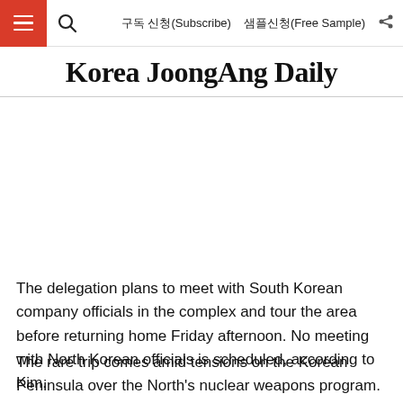구독 신청(Subscribe)   샘플신청(Free Sample)
Korea JoongAng Daily
The delegation plans to meet with South Korean company officials in the complex and tour the area before returning home Friday afternoon. No meeting with North Korean officials is scheduled, according to Kim.
The rare trip comes amid tensions on the Korean Peninsula over the North's nuclear weapons program. A report in 2013 said the